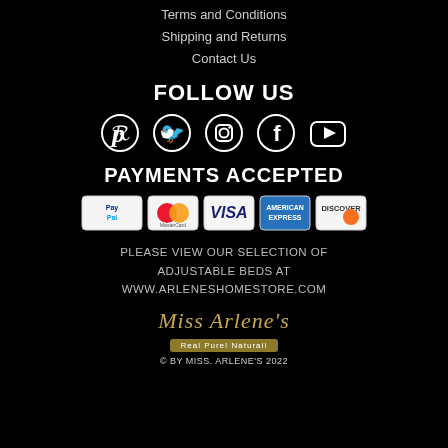Terms and Conditions
Shipping and Returns
Contact Us
FOLLOW US
[Figure (illustration): Social media icons: Pinterest, Twitter, Instagram, Facebook, YouTube]
PAYMENTS ACCEPTED
[Figure (illustration): Payment method icons: PayPal, MasterCard, Visa, American Express, Discover]
PLEASE VIEW OUR SELECTION OF ADJUSTABLE BEDS AT WWW.ARLENESHOMESTORE.COM
[Figure (logo): Miss Arlene's logo with script text and 'Real Pure! Natural!' tagline]
© BY MISS. ARLENE'S 2022